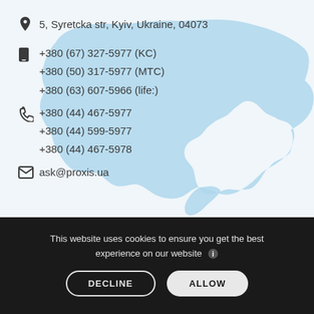[Figure (map): Light blue silhouette map of Ukraine in the background of the contact section]
5, Syretcka str, Kyiv, Ukraine, 04073
+380 (67) 327-5977 (KC)
+380 (50) 317-5977 (MTC)
+380 (63) 607-5966 (life:)
+380 (44) 467-5977
+380 (44) 599-5977
+380 (44) 467-5978
ask@proxis.ua
This website uses cookies to ensure you get the best experience on our website
DECLINE  ALLOW